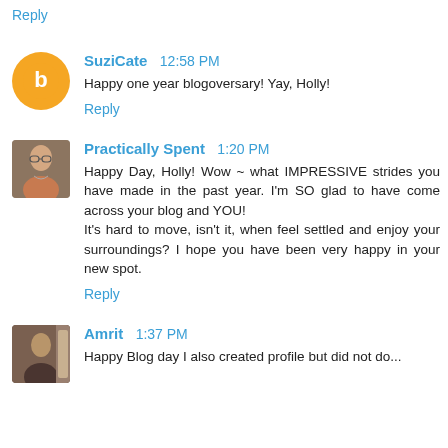Reply
SuziCate  12:58 PM
Happy one year blogoversary! Yay, Holly!
Reply
Practically Spent  1:20 PM
Happy Day, Holly! Wow ~ what IMPRESSIVE strides you have made in the past year. I'm SO glad to have come across your blog and YOU!
It's hard to move, isn't it, when feel settled and enjoy your surroundings? I hope you have been very happy in your new spot.
Reply
Amrit  1:37 PM
Happy Blog day I also created profile but did not do...